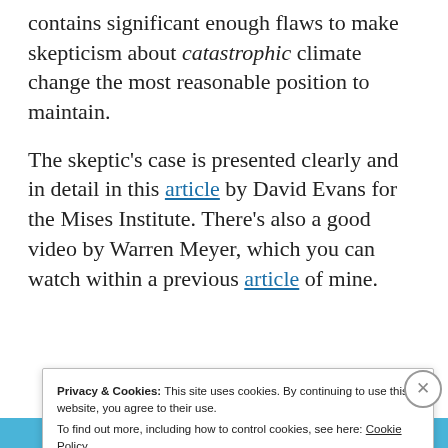contains significant enough flaws to make skepticism about catastrophic climate change the most reasonable position to maintain.
The skeptic's case is presented clearly and in detail in this article by David Evans for the Mises Institute. There's also a good video by Warren Meyer, which you can watch within a previous article of mine.
Privacy & Cookies: This site uses cookies. By continuing to use this website, you agree to their use. To find out more, including how to control cookies, see here: Cookie Policy
Close and accept